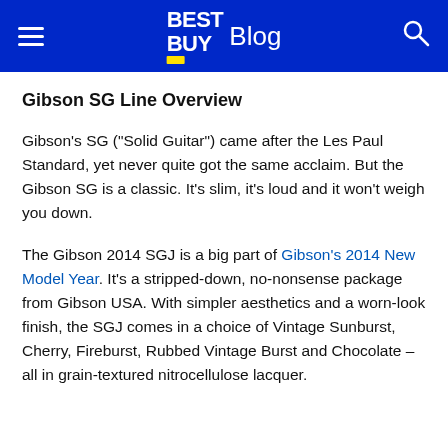BEST BUY Blog
Gibson SG Line Overview
Gibson’s SG (“Solid Guitar”) came after the Les Paul Standard, yet never quite got the same acclaim. But the Gibson SG is a classic. It’s slim, it’s loud and it won’t weigh you down.
The Gibson 2014 SGJ is a big part of Gibson’s 2014 New Model Year. It’s a stripped-down, no-nonsense package from Gibson USA. With simpler aesthetics and a worn-look finish, the SGJ comes in a choice of Vintage Sunburst, Cherry, Fireburst, Rubbed Vintage Burst and Chocolate – all in grain-textured nitrocellulose lacquer.